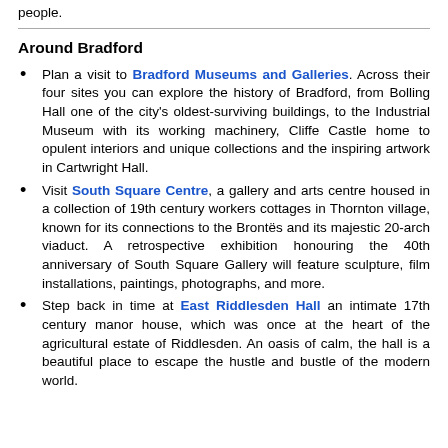people.
Around Bradford
Plan a visit to Bradford Museums and Galleries. Across their four sites you can explore the history of Bradford, from Bolling Hall one of the city's oldest-surviving buildings, to the Industrial Museum with its working machinery, Cliffe Castle home to opulent interiors and unique collections and the inspiring artwork in Cartwright Hall.
Visit South Square Centre, a gallery and arts centre housed in a collection of 19th century workers cottages in Thornton village, known for its connections to the Brontës and its majestic 20-arch viaduct. A retrospective exhibition honouring the 40th anniversary of South Square Gallery will feature sculpture, film installations, paintings, photographs, and more.
Step back in time at East Riddlesden Hall an intimate 17th century manor house, which was once at the heart of the agricultural estate of Riddlesden. An oasis of calm, the hall is a beautiful place to escape the hustle and bustle of the modern world.